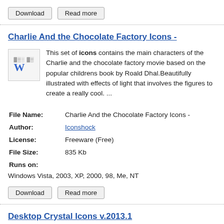Download | Read more (buttons)
Charlie And the Chocolate Factory Icons -
This set of icons contains the main characters of the Charlie and the chocolate factory movie based on the popular childrens book by Roald Dhal.Beautifully illustrated with effects of light that involves the figures to create a really cool. ...
| File Name: | Charlie And the Chocolate Factory Icons - |
| Author: | Iconshock |
| License: | Freeware (Free) |
| File Size: | 835 Kb |
| Runs on: | Windows Vista, 2003, XP, 2000, 98, Me, NT |
Download | Read more (buttons)
Desktop Crystal Icons  v.2013.1
Desktop Crystal Icons depict various gemstones and crystals that are perfect for decorating your website, software or blog...